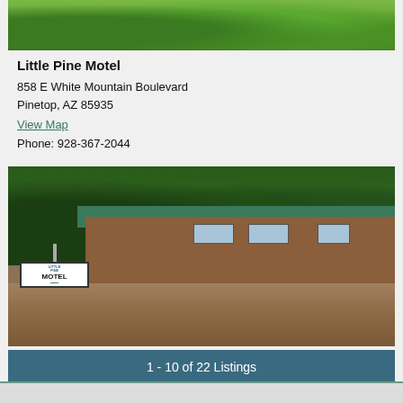[Figure (photo): Partial top photo showing green grass and trees, cropped from top of page]
Little Pine Motel
858 E White Mountain Boulevard
Pinetop, AZ 85935
View Map
Phone: 928-367-2044
[Figure (photo): Photo of the Little Pine Motel exterior showing a sign reading LITTLE PINE MOTEL, a log cabin style building with green metal roof, and surrounding trees and dirt landscape]
1 - 10 of 22 Listings